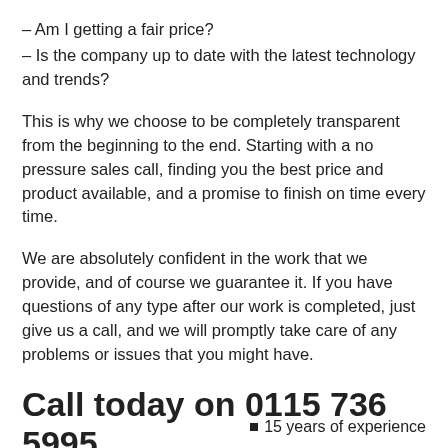– Am I getting a fair price?
– Is the company up to date with the latest technology and trends?
This is why we choose to be completely transparent from the beginning to the end. Starting with a no pressure sales call, finding you the best price and product available, and a promise to finish on time every time.
We are absolutely confident in the work that we provide, and of course we guarantee it. If you have questions of any type after our work is completed, just give us a call, and we will promptly take care of any problems or issues that you might have.
Call today on 0115 736 5995
15 years of experience